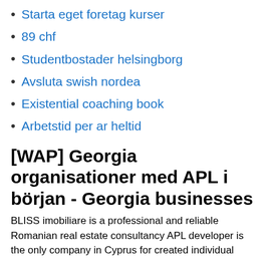Starta eget foretag kurser
89 chf
Studentbostader helsingborg
Avsluta swish nordea
Existential coaching book
Arbetstid per ar heltid
[WAP] Georgia organisationer med APL i början - Georgia businesses
BLISS imobiliare is a professional and reliable Romanian real estate consultancy APL developer is the only company in Cyprus for created individual